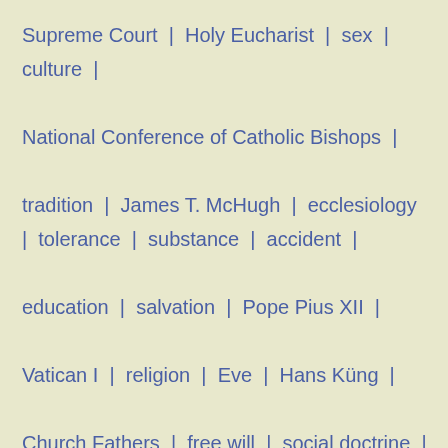Supreme Court | Holy Eucharist | sex | culture | National Conference of Catholic Bishops | tradition | James T. McHugh | ecclesiology | tolerance | substance | accident | education | salvation | Pope Pius XII | Vatican I | religion | Eve | Hans Küng | Church Fathers | free will | social doctrine | Mass | Adam | General Catechetical Directory | language | Vietnam | William H. Marshner | marriage |